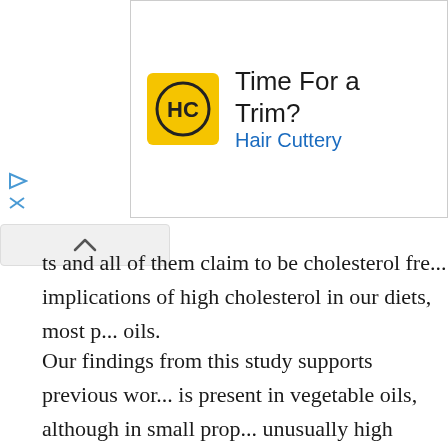[Figure (other): Advertisement banner for Hair Cuttery with yellow logo showing HC letters and text 'Time For a Trim? Hair Cuttery']
ts and all of them claim to be cholesterol fre... implications of high cholesterol in our diets, most p... oils.
Our findings from this study supports previous wor... is present in vegetable oils, although in small prop... unusually high amount of cholesterol was detected... cholesterol has been detected as one of the major... the leaves of rape (Noda et al., 1988). Our results... by the three methods led to the detection of choles... claim by most of the producers of these vegetable...